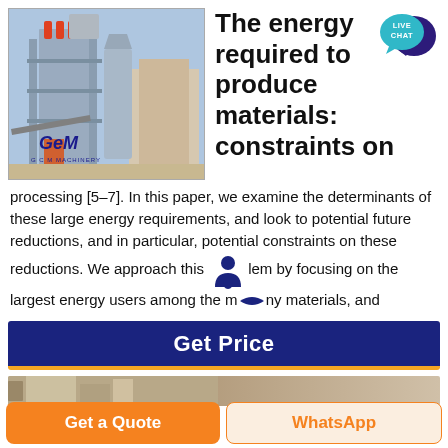[Figure (photo): Industrial machinery / plant equipment (GCM Machinery) with steel structures, silos, and conveyors]
The energy required to produce materials: constraints on
[Figure (other): Live Chat speech bubble icon with teal/dark purple colors]
processing [5–7]. In this paper, we examine the determinants of these large energy requirements, and look to potential future reductions, and in particular, potential constraints on these reductions. We approach this problem by focusing on the largest energy users among the many materials, and
Get Price
[Figure (photo): Partial bottom image of industrial machinery]
Get a Quote
WhatsApp